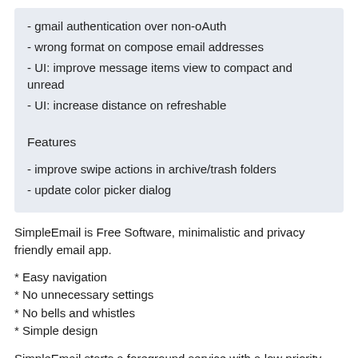- gmail authentication over non-oAuth
- wrong format on compose email addresses
- UI: improve message items view to compact and unread
- UI: increase distance on refreshable
Features
- improve swipe actions in archive/trash folders
- update color picker dialog
SimpleEmail is Free Software, minimalistic and privacy friendly email app.
* Easy navigation
* No unnecessary settings
* No bells and whistles
* Simple design
SimpleEmail starts a foreground service with a low priority